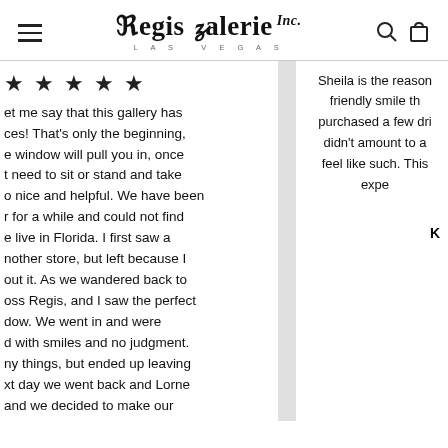Regis Galerie Inc. LAS VEGAS
★ ★ ★ ★ ★
et me say that this gallery has ces! That's only the beginning, e window will pull you in, once t need to sit or stand and take o nice and helpful. We have been r for a while and could not find e live in Florida. I first saw a nother store, but left because I out it. As we wandered back to oss Regis, and I saw the perfect dow. We went in and were d with smiles and no judgment. ny things, but ended up leaving xt day we went back and Lorne and we decided to make our
Sheila is the reason friendly smile th purchased a few dri didn't amount to a feel like such. This expe
K